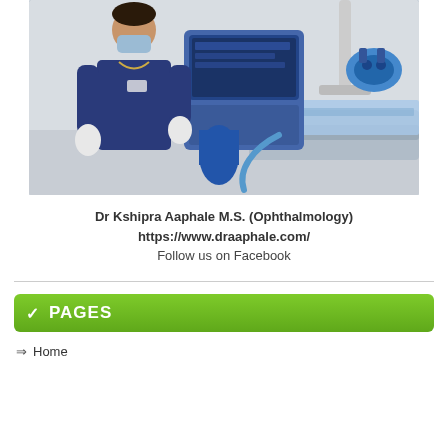[Figure (photo): Doctor (Dr Kshipra Aaphale) in blue scrubs and white gloves standing next to ophthalmic surgical equipment including a microscope and surgical chair in a clinical setting]
Dr Kshipra Aaphale M.S. (Ophthalmology)
https://www.draaphale.com/
Follow us on Facebook
PAGES
Home